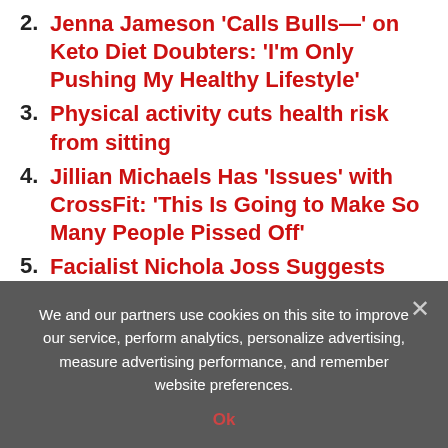2. Jenna Jameson 'Calls Bulls—' on Keto Diet Doubters: 'I'm Only Pushing My Healthy Lifestyle'
3. Physical activity cuts health risk from sitting
4. Jillian Michaels Has 'Issues' with CrossFit: 'This Is Going to Make So Many People Pissed Off'
5. Facialist Nichola Joss Suggests These DIY Masks For A Healthy Glow
« Is alcohol consumption more helpful than harmful? It depends on your age
We and our partners use cookies on this site to improve our service, perform analytics, personalize advertising, measure advertising performance, and remember website preferences.
Ok